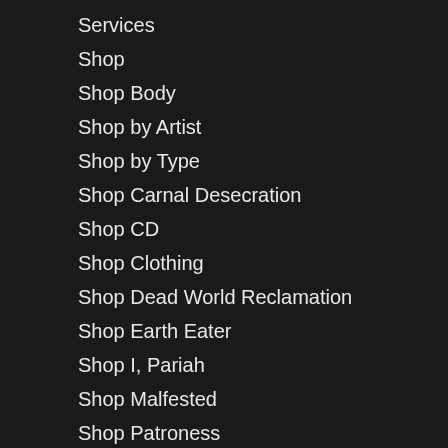Services
Shop
Shop Body
Shop by Artist
Shop by Type
Shop Carnal Desecration
Shop CD
Shop Clothing
Shop Dead World Reclamation
Shop Earth Eater
Shop I, Pariah
Shop Malfested
Shop Patroness
Shop Provectus
Shop Suhrim
Shop Versus
Vision